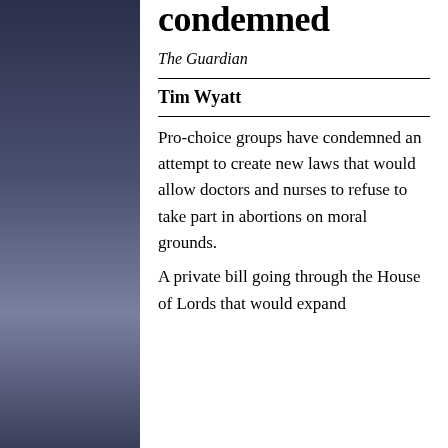condemned
The Guardian
Tim Wyatt
Pro-choice groups have condemned an attempt to create new laws that would allow doctors and nurses to refuse to take part in abortions on moral grounds.
A private bill going through the House of Lords that would expand